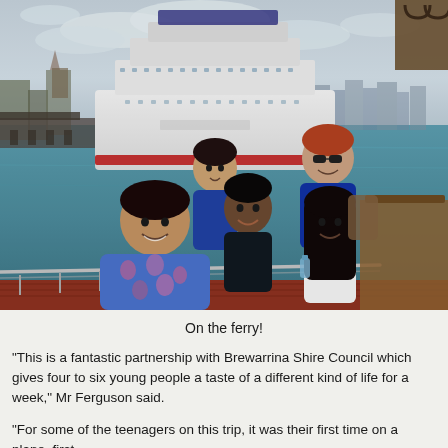[Figure (photo): Group of five teenagers posing on a ferry with a large cruise ship docked in the background at what appears to be Sydney Harbour. Three girls and two boys, smiling at the camera. The ferry deck railing is visible in the foreground, and city buildings and water are visible in the background.]
On the ferry!
"This is a fantastic partnership with Brewarrina Shire Council which gives four to six young people a taste of a different kind of life for a week," Mr Ferguson said.
"For some of the teenagers on this trip, it was their first time on a plane, first